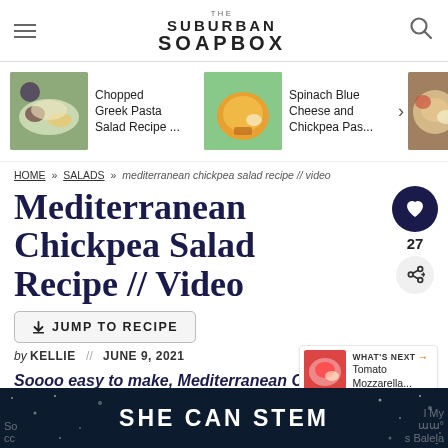THE SUBURBAN SOAPBOX
[Figure (screenshot): Carousel of related recipe thumbnails: Chopped Greek Pasta Salad Recipe, Spinach Blue Cheese and Chickpea Pas..., and a partially visible third item]
HOME » SALADS » mediterranean chickpea salad recipe // video
Mediterranean Chickpea Salad Recipe // Video
↓ JUMP TO RECIPE
by KELLIE // JUNE 9, 2021
Soooo easy to make, Mediterranean Chickpea
[Figure (screenshot): Bottom ad banner with dark background showing 'SHE CAN STEM' text and scattered star decorations, with partially visible text on sides]